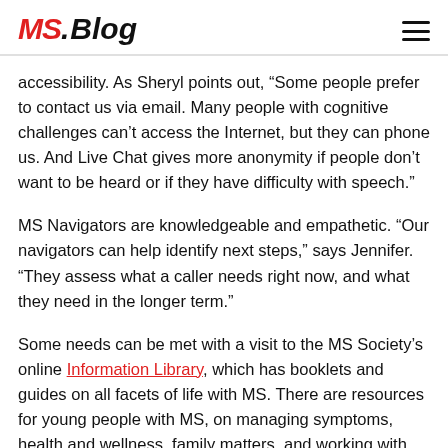MS.Blog
accessibility. As Sheryl points out, “Some people prefer to contact us via email. Many people with cognitive challenges can’t access the Internet, but they can phone us. And Live Chat gives more anonymity if people don’t want to be heard or if they have difficulty with speech.”
MS Navigators are knowledgeable and empathetic. “Our navigators can help identify next steps,” says Jennifer. “They assess what a caller needs right now, and what they need in the longer term.”
Some needs can be met with a visit to the MS Society’s online Information Library, which has booklets and guides on all facets of life with MS. There are resources for young people with MS, on managing symptoms, health and wellness, family matters, and working with your healthcare team.